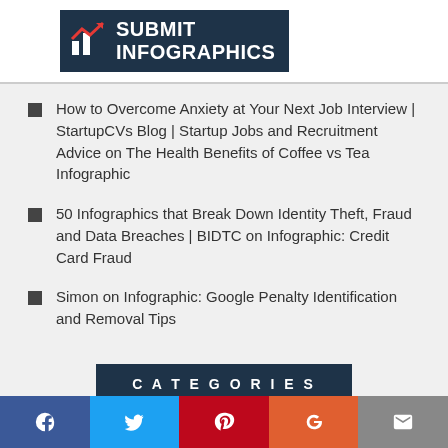[Figure (logo): Submit Infographics logo with dark navy background, white arrow and bar chart icon, and white bold text SUBMIT INFOGRAPHICS]
How to Overcome Anxiety at Your Next Job Interview | StartupCVs Blog | Startup Jobs and Recruitment Advice on The Health Benefits of Coffee vs Tea Infographic
50 Infographics that Break Down Identity Theft, Fraud and Data Breaches | BIDTC on Infographic: Credit Card Fraud
Simon on Infographic: Google Penalty Identification and Removal Tips
CATEGORIES